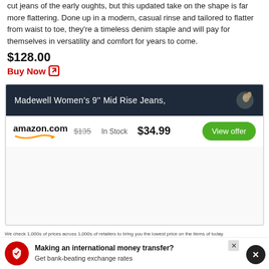cut jeans of the early oughts, but this updated take on the shape is far more flattering. Done up in a modern, casual rinse and tailored to flatter from waist to toe, they’re a timeless denim staple and will pay for themselves in versatility and comfort for years to come.
$128.00
Buy Now
[Figure (screenshot): Product widget showing Madewell Women's 9" Mid Rise Jeans listing from amazon.com with original price $135, In Stock, sale price $34.99, and a green View offer button]
We check 1,000s of prices across 1,000s of retailers to bring you the lowest price on the items of today. The Independ... (link)
[Figure (infographic): Advertisement banner: Making an international money transfer? Get bank-beating exchange rates]